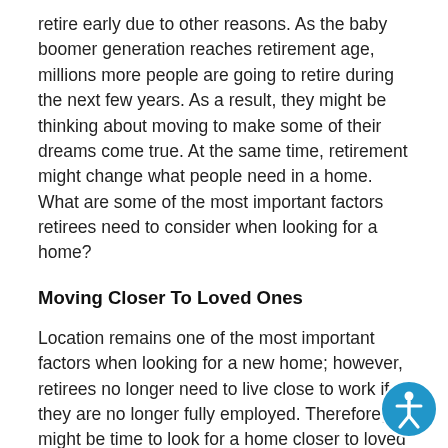retire early due to other reasons. As the baby boomer generation reaches retirement age, millions more people are going to retire during the next few years. As a result, they might be thinking about moving to make some of their dreams come true. At the same time, retirement might change what people need in a home. What are some of the most important factors retirees need to consider when looking for a home?
Moving Closer To Loved Ones
Location remains one of the most important factors when looking for a new home; however, retirees no longer need to live close to work if they are no longer fully employed. Therefore, it might be time to look for a home closer to loved